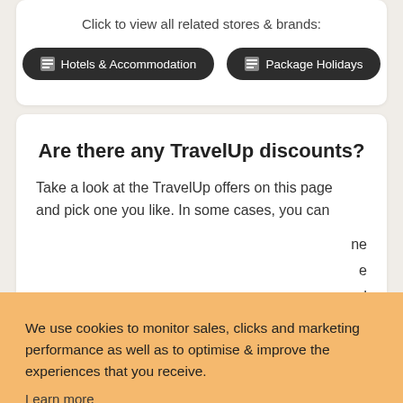Click to view all related stores & brands:
Hotels & Accommodation
Package Holidays
Are there any TravelUp discounts?
Take a look at the TravelUp offers on this page and pick one you like. In some cases, you can
We use cookies to monitor sales, clicks and marketing performance as well as to optimise & improve the experiences that you receive.
Learn more
GOT IT!